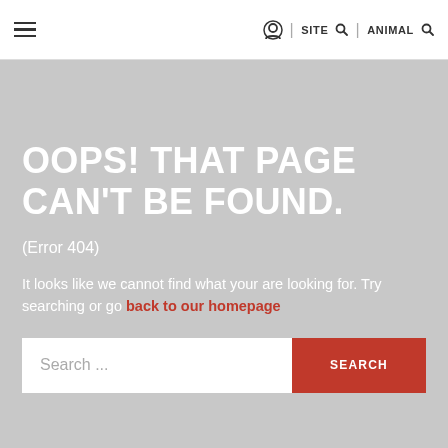≡  |  SITE 🔍  |  ANIMAL 🔍
OOPS! THAT PAGE CAN'T BE FOUND.
(Error 404)
It looks like we cannot find what your are looking for. Try searching or go back to our homepage